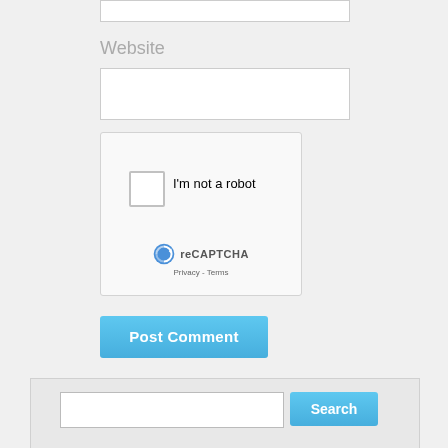Website
[Figure (screenshot): reCAPTCHA widget with checkbox labeled 'I'm not a robot', reCAPTCHA logo, and Privacy - Terms links]
Post Comment
Search